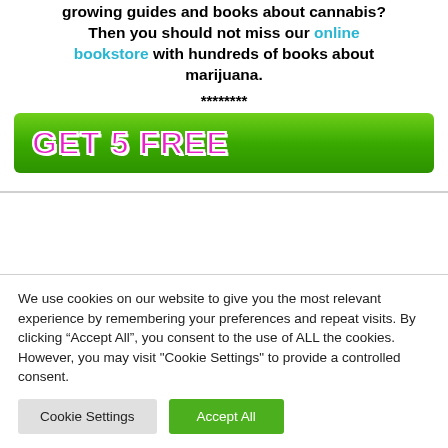growing guides and books about cannabis? Then you should not miss our online bookstore with hundreds of books about marijuana.
********
[Figure (other): Green gradient banner with pink and white outlined text reading 'GET 5 FREE']
We use cookies on our website to give you the most relevant experience by remembering your preferences and repeat visits. By clicking "Accept All", you consent to the use of ALL the cookies. However, you may visit "Cookie Settings" to provide a controlled consent.